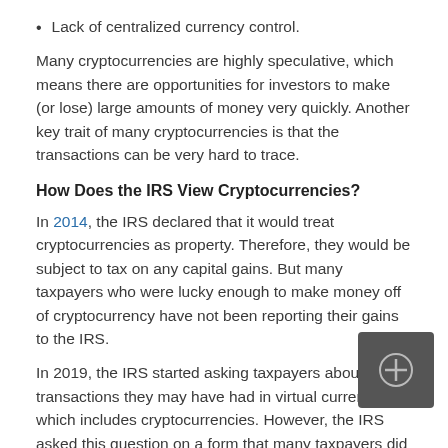Lack of centralized currency control.
Many cryptocurrencies are highly speculative, which means there are opportunities for investors to make (or lose) large amounts of money very quickly. Another key trait of many cryptocurrencies is that the transactions can be very hard to trace.
How Does the IRS View Cryptocurrencies?
In 2014, the IRS declared that it would treat cryptocurrencies as property. Therefore, they would be subject to tax on any capital gains. But many taxpayers who were lucky enough to make money off of cryptocurrency have not been reporting their gains to the IRS.
In 2019, the IRS started asking taxpayers about ant transactions they may have had in virtual currencies, which includes cryptocurrencies. However, the IRS asked this question on a form that many taxpayers did not use or